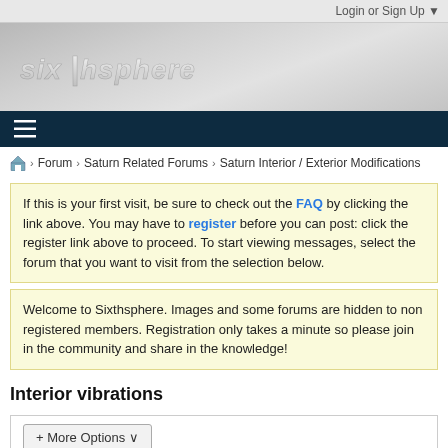Login or Sign Up ▼
[Figure (logo): Sixthsphere site logo in italic stylized text on grey gradient banner]
[Figure (other): Dark navy navigation bar with hamburger menu icon]
🏠 > Forum > Saturn Related Forums > Saturn Interior / Exterior Modifications
If this is your first visit, be sure to check out the FAQ by clicking the link above. You may have to register before you can post: click the register link above to proceed. To start viewing messages, select the forum that you want to visit from the selection below.
Welcome to Sixthsphere. Images and some forums are hidden to non registered members. Registration only takes a minute so please join in the community and share in the knowledge!
Interior vibrations
+ More Options ∨